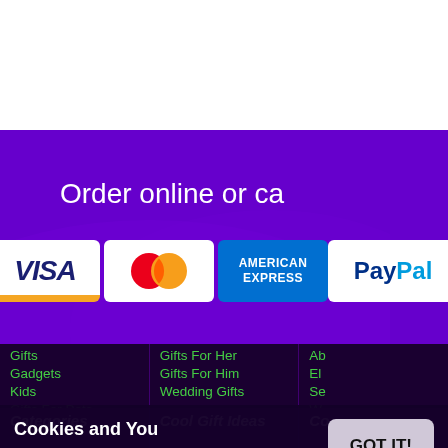[Figure (screenshot): White top area of webpage]
Order online or ca
[Figure (logo): Payment method logos: Visa, Mastercard, American Express, Discover, Diners Club International, PayPal]
Categories
Cool Gift Ideas
Co
Gifts
Gifts For Her
Ab
Gadgets
Gifts For Him
El
Kids
Se
Gifts For Pets
W
Clothing
Wedding Gifts
Cookies and You
We use cookies on this website. You are free to manage these via your browser settings at any time. For more about how we use cookies, please see our Privacy Policy.